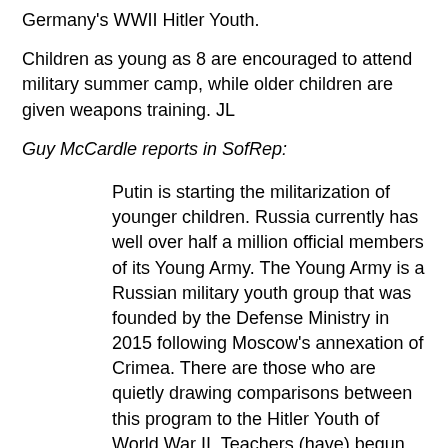Germany's WWII Hitler Youth.
Children as young as 8 are encouraged to attend military summer camp, while older children are given weapons training. JL
Guy McCardle reports in SofRep:
Putin is starting the militarization of younger children. Russia currently has well over half a million official members of its Young Army. The Young Army is a Russian military youth group that was founded by the Defense Ministry in 2015 following Moscow's annexation of Crimea. There are those who are quietly drawing comparisons between this program to the Hitler Youth of World War II. Teachers (have) begun sending home literature encouraging enrollment of children as young as 8 in the Youth Army summer camp. Russian teachers are being placed on the front lines of a push to turn Russian children into loyal, militaristic, obedient...